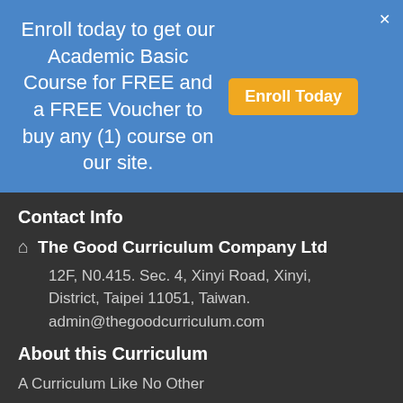Enroll today to get our Academic Basic Course for FREE and a FREE Voucher to buy any (1) course on our site.
Enroll Today
Contact Info
The Good Curriculum Company Ltd
12F, N0.415. Sec. 4, Xinyi Road, Xinyi, District, Taipei 11051, Taiwan.
admin@thegoodcurriculum.com
About this Curriculum
A Curriculum Like No Other
What Is A Self-Taught Curriculum
25 Reasons To Adopt “The Good Curriculum”